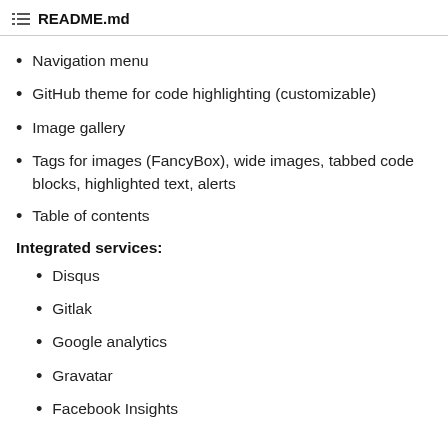README.md
Navigation menu
GitHub theme for code highlighting (customizable)
Image gallery
Tags for images (FancyBox), wide images, tabbed code blocks, highlighted text, alerts
Table of contents
Integrated services:
Disqus
Gitlak
Google analytics
Gravatar
Facebook Insights